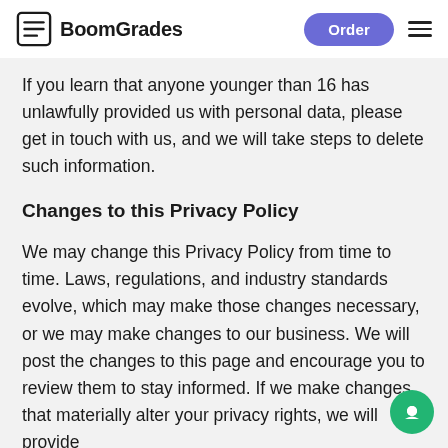BoomGrades | Order
If you learn that anyone younger than 16 has unlawfully provided us with personal data, please get in touch with us, and we will take steps to delete such information.
Changes to this Privacy Policy
We may change this Privacy Policy from time to time. Laws, regulations, and industry standards evolve, which may make those changes necessary, or we may make changes to our business. We will post the changes to this page and encourage you to review them to stay informed. If we make changes that materially alter your privacy rights, we will provide